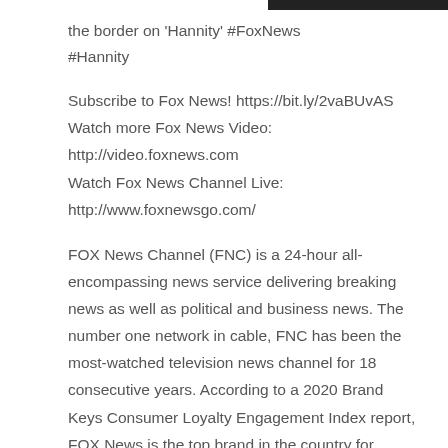the border on 'Hannity' #FoxNews
#Hannity
Subscribe to Fox News! https://bit.ly/2vaBUvAS
Watch more Fox News Video: http://video.foxnews.com
Watch Fox News Channel Live:
http://www.foxnewsgo.com/
FOX News Channel (FNC) is a 24-hour all-encompassing news service delivering breaking news as well as political and business news. The number one network in cable, FNC has been the most-watched television news channel for 18 consecutive years. According to a 2020 Brand Keys Consumer Loyalty Engagement Index report, FOX News is the top brand in the country for morning and evening news coverage. A 2019 Suffolk University poll named FOX News as the most trusted source for television news or